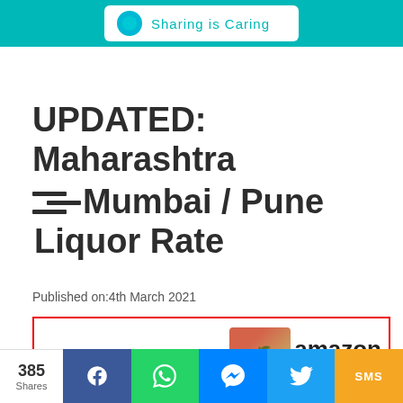Sharing is Caring
UPDATED: Maharashtra Mumbai / Pune Liquor Rate
Published on:4th March 2021
[Figure (screenshot): Amazon advertisement banner for Crystal Clear Ice Cubes with product image and Amazon logo]
[Figure (infographic): Social share bar showing 385 Shares with buttons for Facebook, WhatsApp, Messenger, Twitter, and SMS]